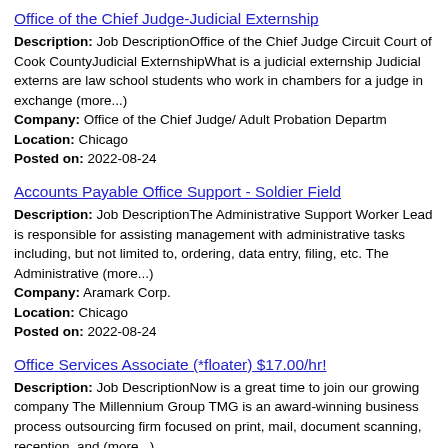Office of the Chief Judge-Judicial Externship
Description: Job DescriptionOffice of the Chief Judge Circuit Court of Cook CountyJudicial ExternshipWhat is a judicial externship Judicial externs are law school students who work in chambers for a judge in exchange (more...)
Company: Office of the Chief Judge/ Adult Probation Departm
Location: Chicago
Posted on: 2022-08-24
Accounts Payable Office Support - Soldier Field
Description: Job DescriptionThe Administrative Support Worker Lead is responsible for assisting management with administrative tasks including, but not limited to, ordering, data entry, filing, etc. The Administrative (more...)
Company: Aramark Corp.
Location: Chicago
Posted on: 2022-08-24
Office Services Associate (*floater) $17.00/hr!
Description: Job DescriptionNow is a great time to join our growing company The Millennium Group TMG is an award-winning business process outsourcing firm focused on print, mail, document scanning, reception, and (more...)
Company: The Millennium Group
Location: Schiller Park
Posted on: 2022-08-24